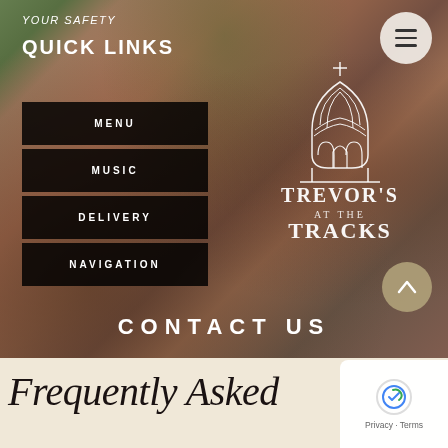[Figure (photo): Restaurant interior with brick walls, leather chairs, and flowering plants visible through windows. Overlay shows navigation menu with Trevor's at the Tracks logo and Contact Us text.]
YOUR SAFETY
QUICK LINKS
MENU
MUSIC
DELIVERY
NAVIGATION
TREVOR'S AT THE TRACKS
CONTACT US
Frequently Asked